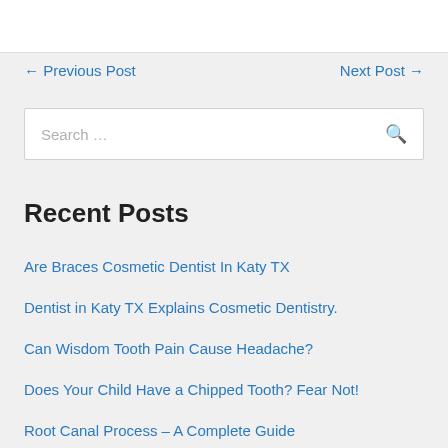← Previous Post    Next Post →
Search ...
Recent Posts
Are Braces Cosmetic Dentist In Katy TX
Dentist in Katy TX Explains Cosmetic Dentistry.
Can Wisdom Tooth Pain Cause Headache?
Does Your Child Have a Chipped Tooth? Fear Not!
Root Canal Process – A Complete Guide